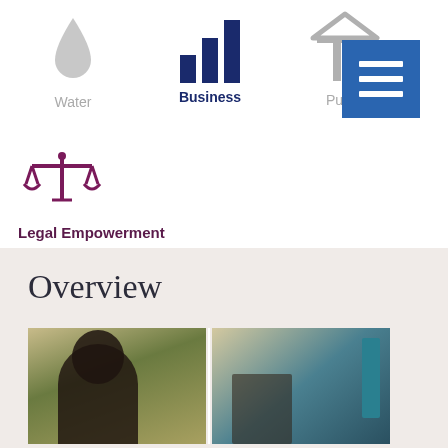[Figure (infographic): Navigation icons for Water (grey drop icon), Business (navy bar chart icon, active/bold), and Public (grey building icon partially visible), with a blue hamburger menu button overlay on the right]
[Figure (infographic): Legal Empowerment icon — purple balance/scales of justice symbol with label 'Legal Empowerment' in purple bold text below]
Overview
[Figure (photo): Two side-by-side photos: left shows a woman with dark upswept hair, back turned, in an outdoor setting with greenery; right shows a person in striped clothing near a teal/blue door in a building interior]